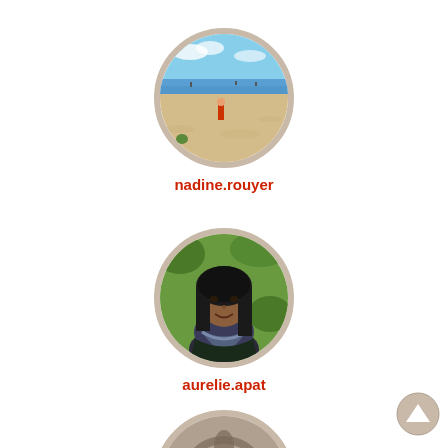[Figure (photo): Circular profile photo showing a beach scene with sand, ocean, and a person standing in the distance. Framed with a beige/tan circular border.]
nadine.rouyer
[Figure (photo): Circular profile photo of a young woman with dark hair and a scarf, smiling outdoors. Framed with a beige/tan circular border.]
aurelie.apat
[Figure (photo): Circular profile photo partially visible at bottom of page, appears to show a decorative or graphic image. Framed with a beige/tan circular border.]
[Figure (illustration): A circular up-arrow navigation button in the bottom right corner, beige/tan colored.]